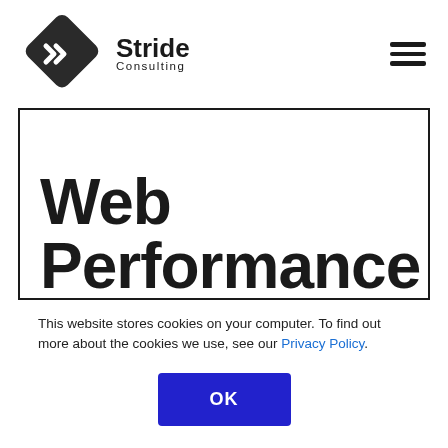[Figure (logo): Stride Consulting logo: geometric diamond/arrow icon in dark grey/black beside text 'Stride Consulting']
Web Performance
This website stores cookies on your computer. To find out more about the cookies we use, see our Privacy Policy.
OK